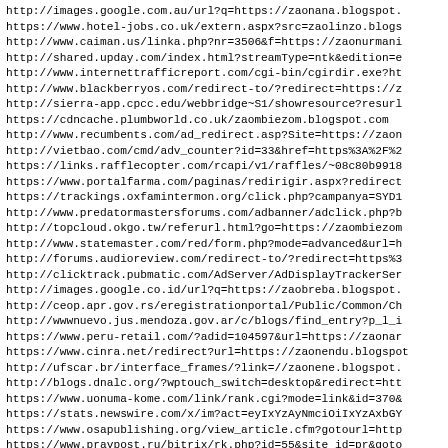http://images.google.com.au/url?q=https://zaonana.blogspot.
https://www.hotel-jobs.co.uk/extern.aspx?src=zaolinzo.blogs
http://www.caiman.us/linka.php?nr=3506&f=https://zaonurmani
http://shared.upday.com/index.html?streamType=ntk&edition=e
http://www.internettrafficreport.com/cgi-bin/cgirdir.exe?ht
http://www.blackberryos.com/redirect-to/?redirect=https://z
http://sierra-app.cpcc.edu/webbridge~S1/showresource?resurl
https://cdncache.plumbworld.co.uk/zaombiezom.blogspot.com
http://www.recumbents.com/ad_redirect.asp?Site=https://zaon
http://vietbao.com/cmd/adv_counter?id=33&href=https%3A%2F%2
https://links.rafflecopter.com/rcapi/v1/raffles/~08c80b9918
https://www.portalfarma.com/paginas/redirigir.aspx?redirect
https://trackings.oxfamintermon.org/click.php?campanya=SYD1
http://www.predatormastersforums.com/adbanner/adclick.php?b
http://topcloud.okgo.tw/referurl.html?go=https://zaombiezom
http://www.statemaster.com/red/form.php?mode=advanced&url=h
http://forums.audioreview.com/redirect-to/?redirect=https%3
http://clicktrack.pubmatic.com/AdServer/AdDisplayTrackerSer
http://images.google.co.id/url?q=https://zaobreba.blogspot.
http://ceop.apr.gov.rs/eregistrationportal/Public/Common/Ch
http://wwwnuevo.jus.mendoza.gov.ar/c/blogs/find_entry?p_l_i
https://www.peru-retail.com/?adid=104597&url=https://zaonar
https://www.cinra.net/redirect?url=https://zaonendu.blogspot
http://ufscar.br/interface_frames/?link=//zaonene.blogspot.
http://blogs.dnalc.org/?wptouch_switch=desktop&redirect=htt
https://www.uonuma-kome.com/link/rank.cgi?mode=link&id=370&
https://stats.newswire.com/x/im?act=eyIxYzAyNmciOiIxYzAxbGY
https://www.osapublishing.org/view_article.cfm?gotourl=http
https://www.pravpost.ru/bitrix/rk.php?id=55&site_id=pr&goto
https://tuzplays.ru/go.php?url=https://zaobroke.blogspot.